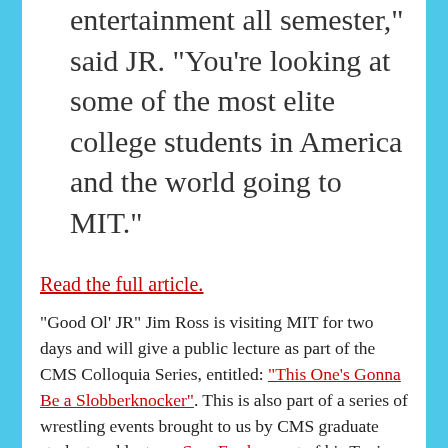entertainment all semester,” said JR. “You’re looking at some of the most elite college students in America and the world going to MIT.”
Read the full article.
"Good Ol' JR" Jim Ross is visiting MIT for two days and will give a public lecture as part of the CMS Colloquia Series, entitled: "This One's Gonna Be a Slobberknocker". This is also part of a series of wrestling events brought to us by CMS graduate student and lecturer Sam Ford as part of his Topics in CMS course, American Pro